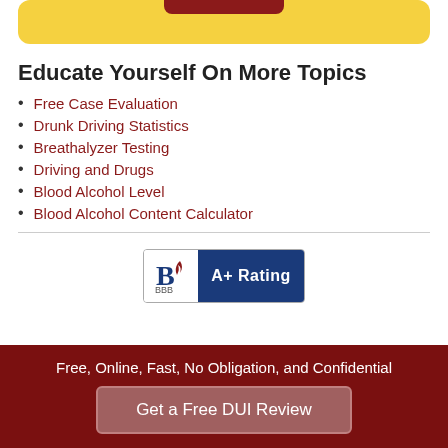[Figure (other): Yellow rounded box with dark red button at top]
Educate Yourself On More Topics
Free Case Evaluation
Drunk Driving Statistics
Breathalyzer Testing
Driving and Drugs
Blood Alcohol Level
Blood Alcohol Content Calculator
[Figure (logo): Better Business Bureau A+ Rating badge]
Free, Online, Fast, No Obligation, and Confidential
Get a Free DUI Review